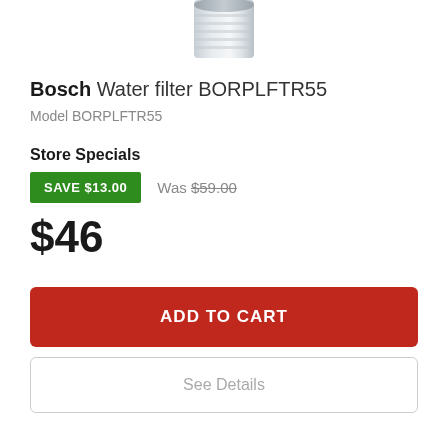[Figure (photo): Partial view of Bosch water filter BORPLFTR55, white cylindrical filter cartridge, cropped at top]
Bosch Water filter BORPLFTR55
Model BORPLFTR55
Store Specials
SAVE $13.00  Was $59.00
$46
ADD TO CART
See Details